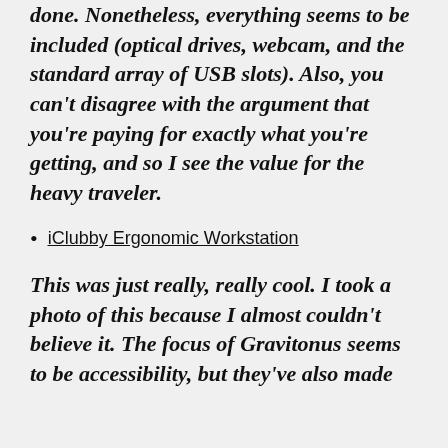done. Nonetheless, everything seems to be included (optical drives, webcam, and the standard array of USB slots). Also, you can't disagree with the argument that you're paying for exactly what you're getting, and so I see the value for the heavy traveler.
iClubby Ergonomic Workstation
This was just really, really cool. I took a photo of this because I almost couldn't believe it. The focus of Gravitonus seems to be accessibility, but they've also made